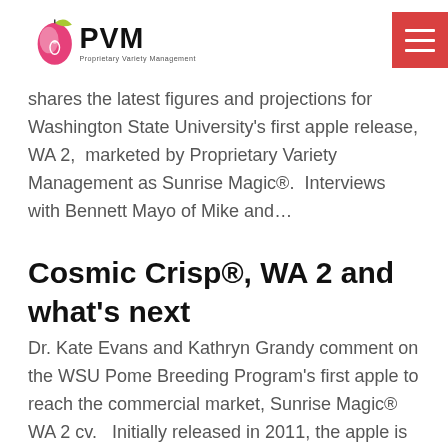PVM - Proprietary Variety Management
shares the latest figures and projections for Washington State University's first apple release, WA 2,  marketed by Proprietary Variety Management as Sunrise Magic®.  Interviews with Bennett Mayo of Mike and…
Cosmic Crisp®, WA 2 and what's next
Dr. Kate Evans and Kathryn Grandy comment on the WSU Pome Breeding Program's first apple to reach the commercial market, Sunrise Magic® WA 2 cv.   Initially released in 2011, the apple is starting to gain some traction.   Read the full article in the Winter 2020…